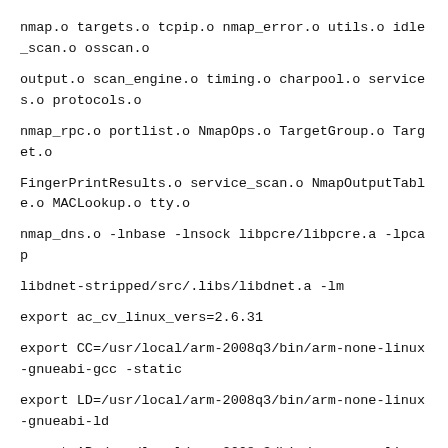nmap.o targets.o tcpip.o nmap_error.o utils.o idle_scan.o osscan.o
output.o scan_engine.o timing.o charpool.o services.o protocols.o
nmap_rpc.o portlist.o NmapOps.o TargetGroup.o Target.o
FingerPrintResults.o service_scan.o NmapOutputTable.o MACLookup.o tty.o
nmap_dns.o -lnbase -lnsock libpcre/libpcre.a -lpcap
libdnet-stripped/src/.libs/libdnet.a -lm
export ac_cv_linux_vers=2.6.31
export CC=/usr/local/arm-2008q3/bin/arm-none-linux-gnueabi-gcc -static
export LD=/usr/local/arm-2008q3/bin/arm-none-linux-gnueabi-ld
export AR=/usr/local/arm-2008q3/bin/arm-none-linux-gnueabi-ar
export RANLIB=/usr/local/arm-2008q3/arm-none-linux-gnueabi/bin/ranlib